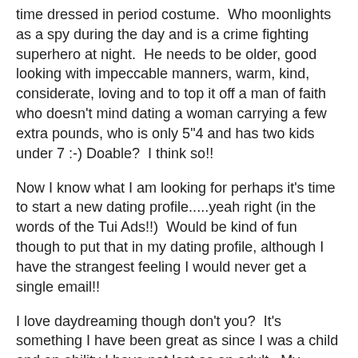time dressed in period costume.  Who moonlights as a spy during the day and is a crime fighting superhero at night.  He needs to be older, good looking with impeccable manners, warm, kind, considerate, loving and to top it off a man of faith who doesn't mind dating a woman carrying a few extra pounds, who is only 5"4 and has two kids under 7 :-) Doable?  I think so!!
Now I know what I am looking for perhaps it's time to start a new dating profile.....yeah right (in the words of the Tui Ads!!)  Would be kind of fun though to put that in my dating profile, although I have the strangest feeling I would never get a single email!!
I love daydreaming though don't you?  It's something I have been great as since I was a child and an ability I have not lost as an adult.  My teachers at school told me off for it on a regular basis!